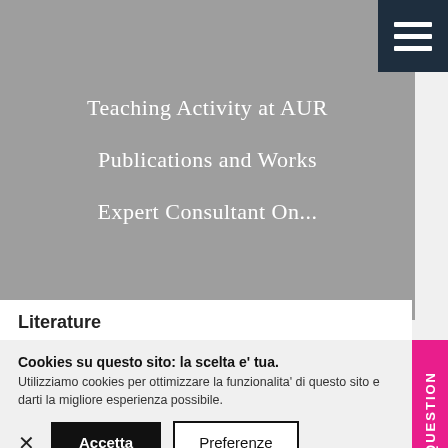Teaching Activity at AUR
Publications and Works
Expert Consultant On...
Literature
Art History
Cookies su questo sito: la scelta e' tua. Utilizziamo cookies per ottimizzare la funzionalita' di questo sito e darti la migliore esperienza possibile.
Accetta
Preferenze